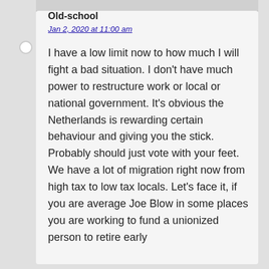Old-school
Jan 2, 2020 at 11:00 am
I have a low limit now to how much I will fight a bad situation. I don't have much power to restructure work or local or national government. It's obvious the Netherlands is rewarding certain behaviour and giving you the stick. Probably should just vote with your feet. We have a lot of migration right now from high tax to low tax locals. Let's face it, if you are average Joe Blow in some places you are working to fund a unionized person to retire early